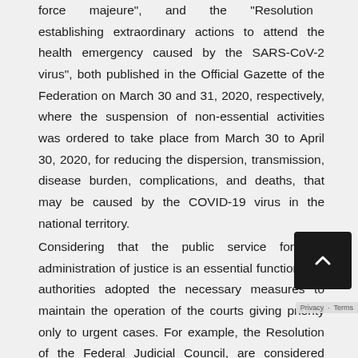force majeure", and the "Resolution establishing extraordinary actions to attend the health emergency caused by the SARS-CoV-2 virus", both published in the Official Gazette of the Federation on March 30 and 31, 2020, respectively, where the suspension of non-essential activities was ordered to take place from March 30 to April 30, 2020, for reducing the dispersion, transmission, disease burden, complications, and deaths, that may be caused by the COVID-19 virus in the national territory.
Considering that the public service for the administration of justice is an essential function, the authorities adopted the necessary measures to maintain the operation of the courts giving priority only to urgent cases. For example, the Resolution of the Federal Judicial Council, are considered urgent cases, the execution of arrest warrants or freezing of bank accounts and matters in which people health or physical